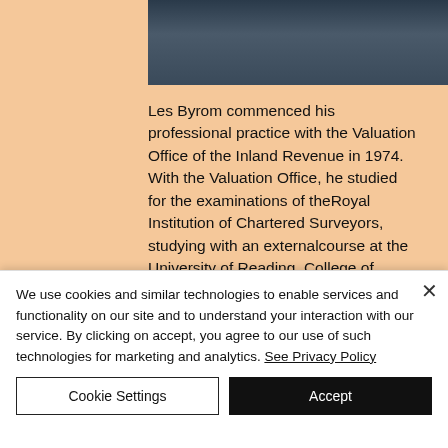[Figure (photo): Partial photo of a person in dark clothing, cropped at top of page]
Les Byrom commenced his professional practice with the Valuation Office of the Inland Revenue in 1974. With the Valuation Office, he studied for the examinations of theRoyal Institution of Chartered Surveyors, studying with an externalcourse at the University of Reading, College of Estate Management, which is a nationally recognised centre for the landed
We use cookies and similar technologies to enable services and functionality on our site and to understand your interaction with our service. By clicking on accept, you agree to our use of such technologies for marketing and analytics. See Privacy Policy